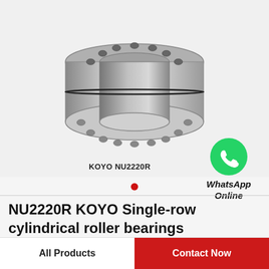[Figure (illustration): KOYO NU2220R cylindrical roller bearing shown in 3D perspective view — a metal ring bearing with visible rollers around the inner race, silver/chrome finish]
KOYO NU2220R
[Figure (logo): WhatsApp green circular logo icon with white phone handset]
WhatsApp Online
NU2220R KOYO Single-row cylindrical roller bearings
All Products
Contact Now